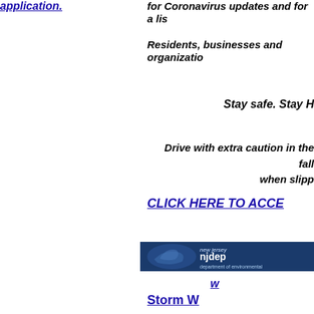application.
for Coronavirus updates and for a lis
Residents, businesses and organizatio
Stay safe. Stay H
Drive with extra caution in the fall when slipp
CLICK HERE TO ACCE
[Figure (logo): New Jersey Department of Environmental Protection (NJDEP) logo banner - dark blue background with eagle silhouette and 'new jersey njdep department of environmental' text]
w
Storm W
www.
Ch